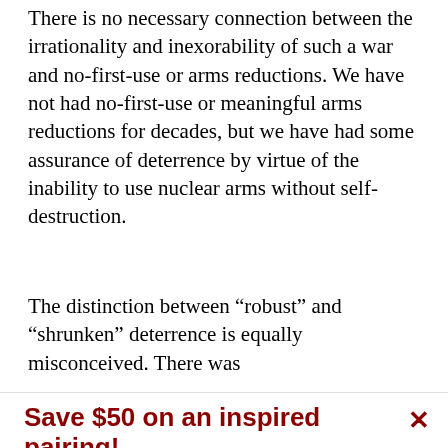There is no necessary connection between the irrationality and inexorability of such a war and no-first-use or arms reductions. We have not had no-first-use or meaningful arms reductions for decades, but we have had some assurance of deterrence by virtue of the inability to use nuclear arms without self-destruction.
The distinction between “robust” and “shrunken” deterrence is equally misconceived. There was
Save $50 on an inspired pairing!
Get both The New York Review AND The Paris Review at one low price.
See offer
Already a subscriber?  Sign in